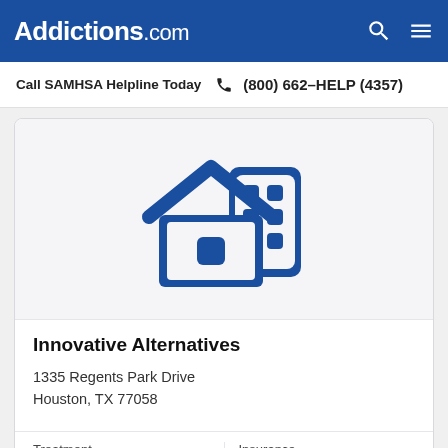Addictions.com
Call SAMHSA Helpline Today  (800) 662-HELP (4357)
[Figure (illustration): Blue icon of a house and an office building representing residential/outpatient treatment facility]
Innovative Alternatives
1335 Regents Park Drive
Houston, TX 77058
Treatment: Outpatient | Insurance: Medicaid, Private